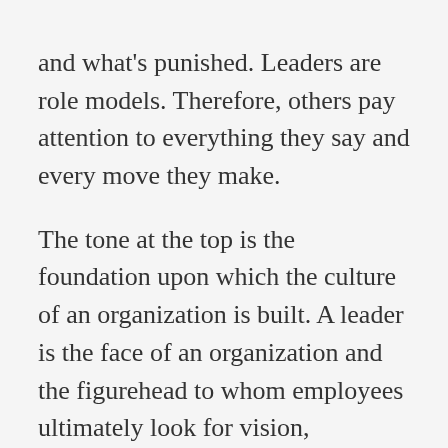and what's punished. Leaders are role models. Therefore, others pay attention to everything they say and every move they make.

The tone at the top is the foundation upon which the culture of an organization is built. A leader is the face of an organization and the figurehead to whom employees ultimately look for vision, guidance, and leadership. When leaders throw temper tantrums, swear, or engage in appalling behavior, the message they convey within their organizations is that such behavior